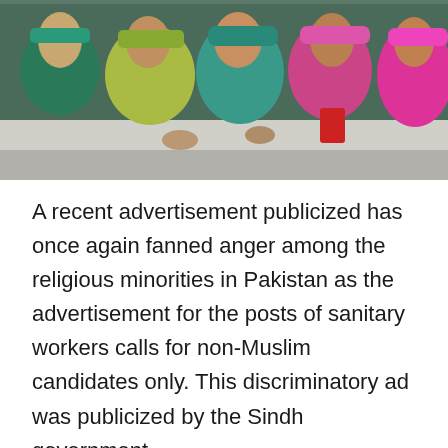[Figure (photo): Group of women wearing colorful headscarves and traditional clothing, photographed at a gathering or protest.]
A recent advertisement publicized has once again fanned anger among the religious minorities in Pakistan as the advertisement for the posts of sanitary workers calls for non-Muslim candidates only. This discriminatory ad was publicized by the Sindh government.
The recent advertisement puts forth job opportunities for car mechanic, laborer, in charge of maintenance and cleaners. However the advertisement also goes on to call only non-Muslim